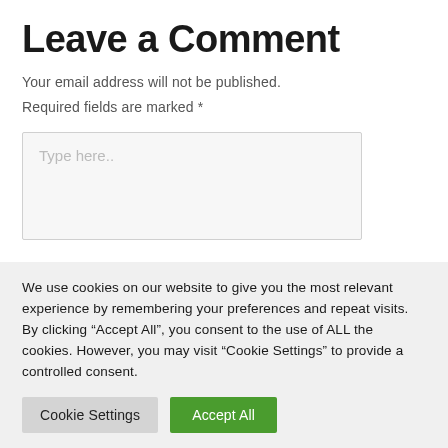Leave a Comment
Your email address will not be published.
Required fields are marked *
[Figure (screenshot): Empty comment text area input box with placeholder text 'Type here..']
We use cookies on our website to give you the most relevant experience by remembering your preferences and repeat visits. By clicking “Accept All”, you consent to the use of ALL the cookies. However, you may visit “Cookie Settings” to provide a controlled consent.
Cookie Settings | Accept All